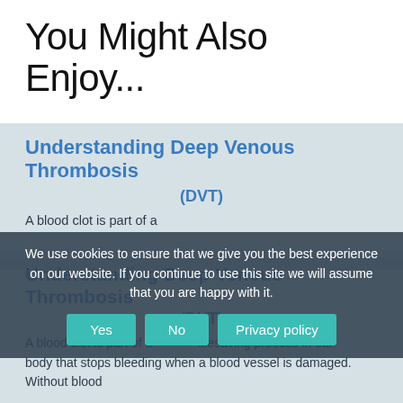You Might Also Enjoy...
Understanding Deep Venous Thrombosis (DVT)
A blood clot is part of a natural lifesaving process in our body that stops bleeding when a blood vessel is damaged. Without blood
We use cookies to ensure that we give you the best experience on our website. If you continue to use this site we will assume that you are happy with it.